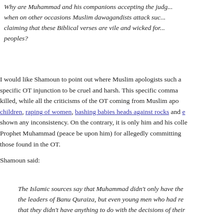Why are Muhammad and his companions accepting the judgment of the Torah when on other occasions Muslim dawagandists attack such commandments claiming that these Biblical verses are vile and wicked for ordering such peoples?
I would like Shamoun to point out where Muslim apologists such as myself have used a specific OT injunction to be cruel and harsh. This specific command has absolutely not been killed, while all the criticisms of the OT coming from Muslim apologists such as killing of children, raping of women, bashing babies heads against rocks and etc., Shamoun has never shown any inconsistency. On the contrary, it is only him and his colleagues who are attacking Prophet Muhammad (peace be upon him) for allegedly committing similar or worse things than those found in the OT.
Shamoun said:
The Islamic sources say that Muhammad didn't only have the leaders of Banu Quraiza, but even young men who had reached puberty and claimed that they didn't have anything to do with the decisions of their leaders killed.